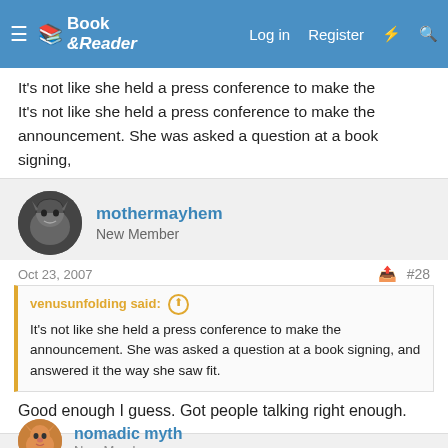Book & Reader — Log in  Register
It's not like she held a press conference to make the announcement. She was asked a question at a book signing, and answered it the way she saw fit.
mothermayhem
New Member
Oct 23, 2007   #28
venusunfolding said:
It's not like she held a press conference to make the announcement. She was asked a question at a book signing, and answered it the way she saw fit.
Good enough I guess. Got people talking right enough.
nomadic myth
New Member